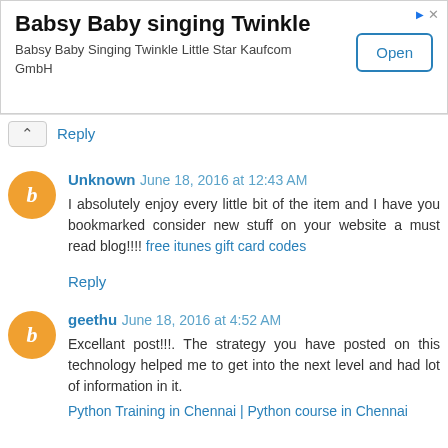[Figure (other): Advertisement banner for 'Babsy Baby singing Twinkle' app by Kaufcom GmbH with an Open button]
Reply
Unknown June 18, 2016 at 12:43 AM
I absolutely enjoy every little bit of the item and I have you bookmarked consider new stuff on your website a must read blog!!!! free itunes gift card codes
Reply
geethu June 18, 2016 at 4:52 AM
Excellant post!!!. The strategy you have posted on this technology helped me to get into the next level and had lot of information in it.
Python Training in Chennai | Python course in Chennai